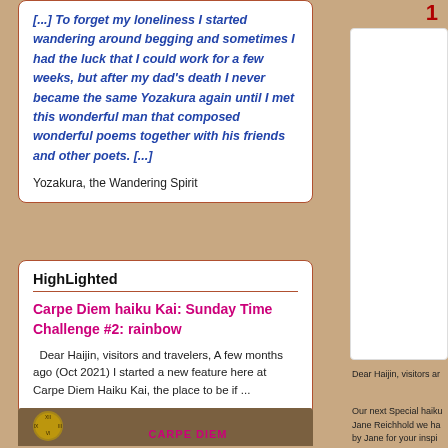[...] To forget my loneliness I started wandering around begging and sometimes I had the luck that I could work for a few weeks, but after my dad's death I never became the same Yozakura again until I met this wonderful man that composed wonderful poems together with his friends and other poets. [...]
Yozakura, the Wandering Spirit
HighLighted
Carpe Diem haiku Kai: Sunday Time Challenge #2: rainbow
Dear Haijin, visitors and travelers, A few months ago (Oct 2021) I started a new feature here at Carpe Diem Haiku Kai, the place to be if ...
[Figure (photo): Clock/timepiece image with Carpe Diem text overlay at bottom]
Dear Haijin, visitors ar
Our next Special haiku Jane Reichhold we ha by Jane for your inspi As you all can see I h for wisdom and knowl the Specials we are lo